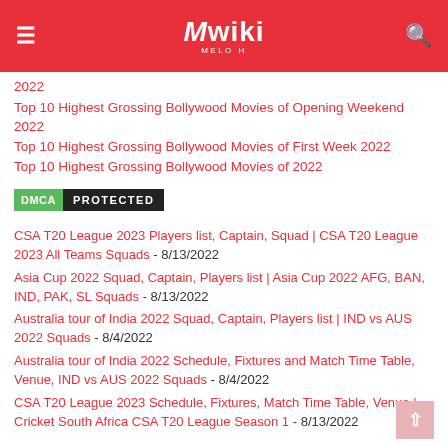Mwiki
2022
Top 10 Highest Grossing Bollywood Movies of Opening Weekend 2022
Top 10 Highest Grossing Bollywood Movies of First Week 2022
Top 10 Highest Grossing Bollywood Movies of 2022
[Figure (logo): DMCA Protected badge with green DMCA label and black PROTECTED label]
CSA T20 League 2023 Players list, Captain, Squad | CSA T20 League 2023 All Teams Squads - 8/13/2022
Asia Cup 2022 Squad, Captain, Players list | Asia Cup 2022 AFG, BAN, IND, PAK, SL Squads - 8/13/2022
Australia tour of India 2022 Squad, Captain, Players list | IND vs AUS 2022 Squads - 8/4/2022
Australia tour of India 2022 Schedule, Fixtures and Match Time Table, Venue, IND vs AUS 2022 Squads - 8/4/2022
CSA T20 League 2023 Schedule, Fixtures, Match Time Table, Venue | Cricket South Africa CSA T20 League Season 1 - 8/13/2022